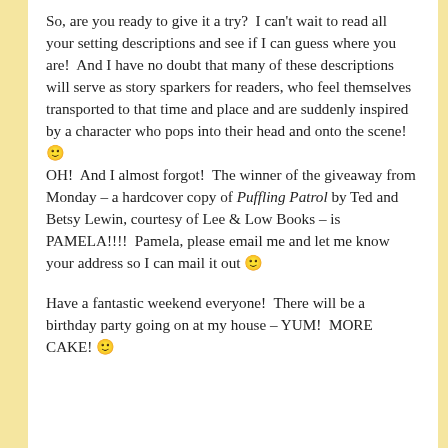So, are you ready to give it a try?  I can't wait to read all your setting descriptions and see if I can guess where you are!  And I have no doubt that many of these descriptions will serve as story sparkers for readers, who feel themselves transported to that time and place and are suddenly inspired by a character who pops into their head and onto the scene! 🙂
OH!  And I almost forgot!  The winner of the giveaway from Monday – a hardcover copy of Puffling Patrol by Ted and Betsy Lewin, courtesy of Lee & Low Books – is PAMELA!!!!  Pamela, please email me and let me know your address so I can mail it out 🙂
Have a fantastic weekend everyone!  There will be a birthday party going on at my house – YUM!  MORE CAKE! 🙂